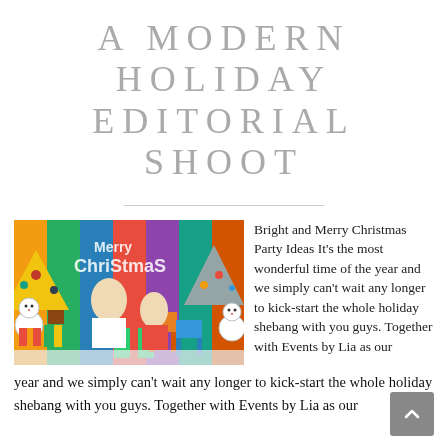A MODERN HOLIDAY EDITORIAL SHOOT
[Figure (photo): Two children posing in front of a colorful Christmas-themed backdrop with holiday decorations, Christmas trees, snowmen, and gift boxes.]
Bright and Merry Christmas Party Ideas It's the most wonderful time of the year and we simply can't wait any longer to kick-start the whole holiday shebang with you guys. Together with Events by Lia as our